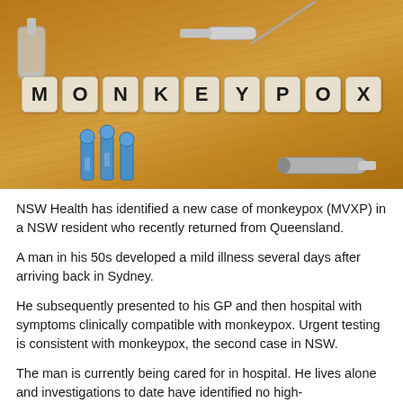[Figure (photo): Photo of letter tiles spelling MONKEYPOX on a wooden surface, with syringes, vials, and medical implements around them.]
NSW Health has identified a new case of monkeypox (MVXP) in a NSW resident who recently returned from Queensland.
A man in his 50s developed a mild illness several days after arriving back in Sydney.
He subsequently presented to his GP and then hospital with symptoms clinically compatible with monkeypox. Urgent testing is consistent with monkeypox, the second case in NSW.
The man is currently being cared for in hospital. He lives alone and investigations to date have identified no high-